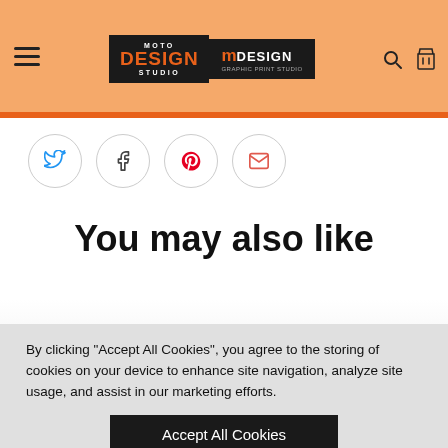[Figure (logo): Moto Design Studio and mDesign logos in website header with orange background]
[Figure (infographic): Row of four social sharing icon circles: Twitter (blue), Facebook (dark), Pinterest (red), Email (orange-red)]
You may also like
By clicking "Accept All Cookies", you agree to the storing of cookies on your device to enhance site navigation, analyze site usage, and assist in our marketing efforts.
Accept All Cookies